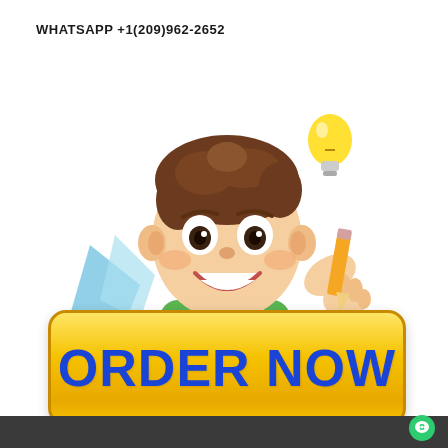WHATSAPP +1(209)962-2652
[Figure (illustration): Cartoon boy with brown hair holding a pencil/lightbulb, peeking over an ORDER NOW button. Yellow lightbulb in upper right, blue paper/wing elements on the left.]
ORDER NOW